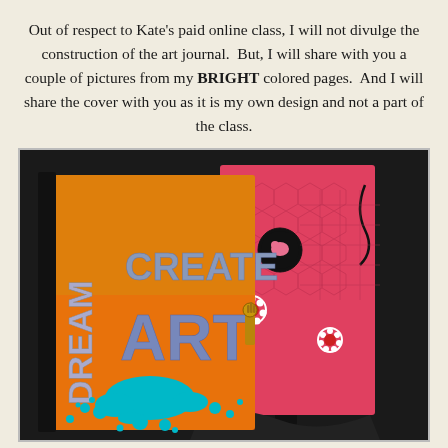Out of respect to Kate's paid online class, I will not divulge the construction of the art journal.  But, I will share with you a couple of pictures from my BRIGHT colored pages.  And I will share the cover with you as it is my own design and not a part of the class.
[Figure (photo): Photo of two handmade art journals. The front journal cover features the words DREAM, CREATE, ART in large stenciled letters on an orange/yellow background with a teal paint splatter at the bottom and a decorative metal clasp. Behind it is a second journal showing a bright pink/red page with honeycomb patterns, flower embellishments, and swirling black designs.]